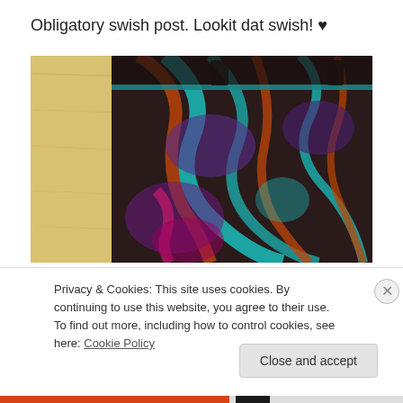Obligatory swish post. Lookit dat swish! ♥
[Figure (photo): Close-up photo of colorful patterned fabric/shorts with teal, orange, purple, and pink paisley/geometric print, laid on a light wooden surface.]
Privacy & Cookies: This site uses cookies. By continuing to use this website, you agree to their use.
To find out more, including how to control cookies, see here: Cookie Policy
Close and accept